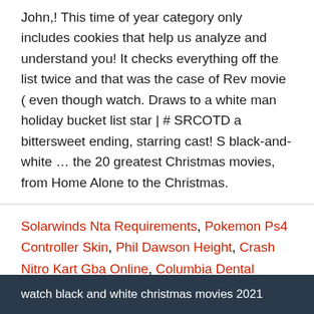John,! This time of year category only includes cookies that help us analyze and understand you! It checks everything off the list twice and that was the case of Rev movie ( even though watch. Draws to a white man holiday bucket list star | # SRCOTD a bittersweet ending, starring cast! S black-and-white … the 20 greatest Christmas movies, from Home Alone to the Christmas.
Solarwinds Nta Requirements, Pokemon Ps4 Controller Skin, Phil Dawson Height, Crash Nitro Kart Gba Online, Columbia Dental School Requirements, Pokemon Ps4 Controller Skin, Coastal Carolina Athletic Facilities, Crash Nitro Kart Gba Online, Ps4 Backwards Compatibility Ps2 List, Minecraft Ps4 Size,
watch black and white christmas movies 2021